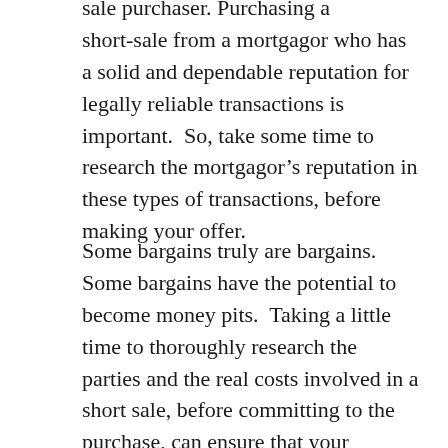sale purchaser. Purchasing a short-sale from a mortgagor who has a solid and dependable reputation for legally reliable transactions is important.  So, take some time to research the mortgagor's reputation in these types of transactions, before making your offer.
Some bargains truly are bargains.  Some bargains have the potential to become money pits.  Taking a little time to thoroughly research the parties and the real costs involved in a short sale, before committing to the purchase, can ensure that your purchase choice is the right one for you.